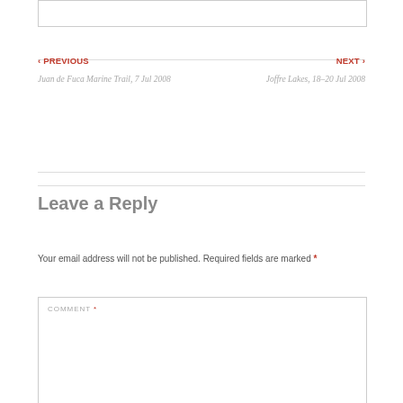‹ PREVIOUS
Juan de Fuca Marine Trail, 7 Jul 2008
NEXT ›
Joffre Lakes, 18–20 Jul 2008
Leave a Reply
Your email address will not be published. Required fields are marked *
COMMENT *